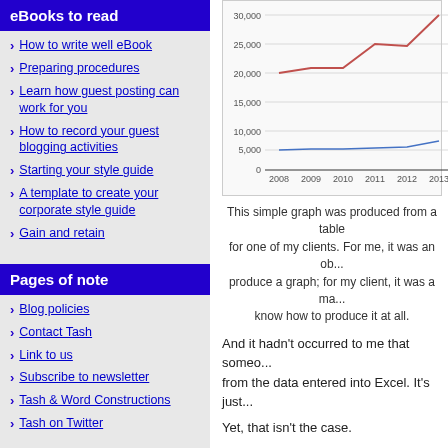eBooks to read
How to write well eBook
Preparing procedures
Learn how guest posting can work for you
How to record your guest blogging activities
Starting your style guide
A template to create your corporate style guide
Gain and retain
Pages of note
Blog policies
Contact Tash
Link to us
Subscribe to newsletter
Tash & Word Constructions
Tash on Twitter
[Figure (line-chart): ]
This simple graph was produced from a table for one of my clients. For me, it was an obvious way to produce a graph; for my client, it was a matter of how to know how to produce it at all.
And it hadn't occurred to me that someone could get data from the data entered into Excel. It's just...
Yet, that isn't the case.
Graphs in Excel – not so ob...
A couple of weeks ago I did a presentation... and he mentioned wanting some graphs...
Long story short, he didn't know excel w...
I set up that simple graph for him and no... more complex graph so I have outsource...